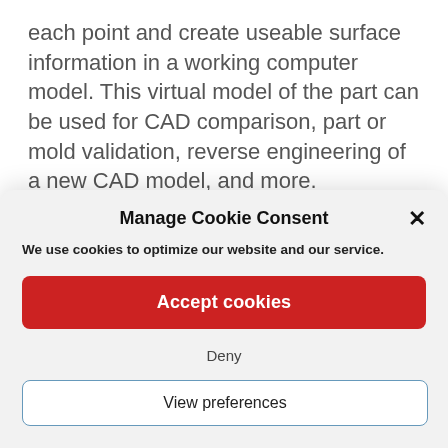each point and create useable surface information in a working computer model. This virtual model of the part can be used for CAD comparison, part or mold validation, reverse engineering of a new CAD model, and more.
The hand-held and arm scanners used for this
Manage Cookie Consent
We use cookies to optimize our website and our service.
Accept cookies
Deny
View preferences